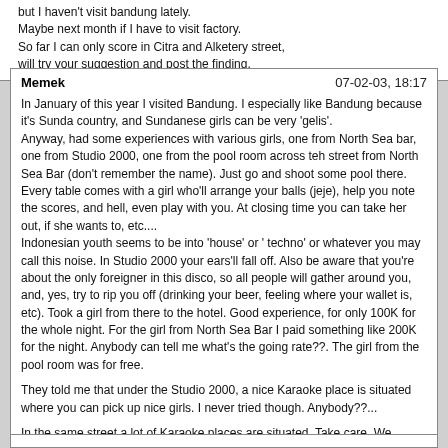but I haven't visit bandung lately.
Maybe next month if I have to visit factory.
So far I can only score in Citra and Alketery street,
will try your suggestion and post the finding.
Memek    07-02-03, 18:17

In January of this year I visited Bandung. I especially like Bandung because it's Sunda country, and Sundanese girls can be very 'gelis'.
Anyway, had some experiences with various girls, one from North Sea bar, one from Studio 2000, one from the pool room across teh street from North Sea Bar (don't remember the name). Just go and shoot some pool there. Every table comes with a girl who'll arrange your balls (jeje), help you note the scores, and hell, even play with you. At closing time you can take her out, if she wants to, etc....
Indonesian youth seems to be into 'house' or ' techno' or whatever you may call this noise. In Studio 2000 your ears'll fall off. Also be aware that you're about the only foreigner in this disco, so all people will gather around you, and, yes, try to rip you off (drinking your beer, feeling where your wallet is, etc). Took a girl from there to the hotel. Good experience, for only 100K for the whole night. For the girl from North Sea Bar I paid something like 200K for the night. Anybody can tell me what's the going rate??. The girl from the pool room was for free.

They told me that under the Studio 2000, a nice Karaoke place is situated where you can pick up nice girls. I never tried though. Anybody??...

In the same street a lot of Karaoke places are situated. Take care. We entered one, bought ourselves a beer and looked at the merchandise. Asked for the price and they told us it was something like 100K for 1 hour, which sounded quite cheap. Afterwards however we found out that you'll pay for the girl sitting next to you, and nothing else. We tried to get our money back, but then we noticed that the o'so friendly barkeeper changed into a ruthless guy, not willing to negotiate. We paid and hurried out.